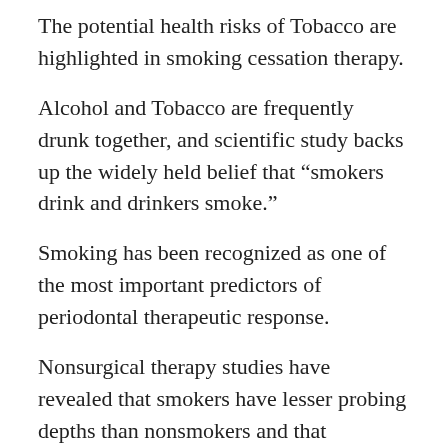The potential health risks of Tobacco are highlighted in smoking cessation therapy.
Alcohol and Tobacco are frequently drunk together, and scientific study backs up the widely held belief that “smokers drink and drinkers smoke.”
Smoking has been recognized as one of the most important predictors of periodontal therapeutic response.
Nonsurgical therapy studies have revealed that smokers have lesser probing depths than nonsmokers and that attachment increases less. Patients who underwent surgical intervention had similar findings, namely more minor bone height increase.
In implant patients, smoking is regarded as a substantial risk factor.
Wound healing takes longer in smokers than in nonsmokers.